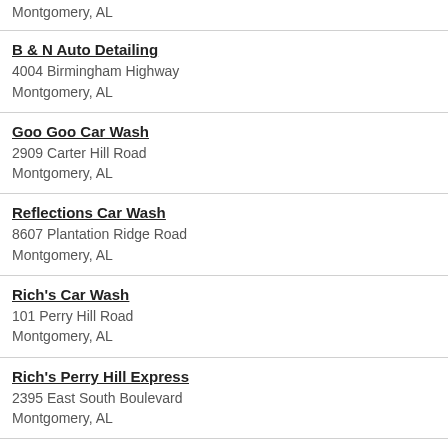Montgomery, AL
B & N Auto Detailing
4004 Birmingham Highway
Montgomery, AL
Goo Goo Car Wash
2909 Carter Hill Road
Montgomery, AL
Reflections Car Wash
8607 Plantation Ridge Road
Montgomery, AL
Rich's Car Wash
101 Perry Hill Road
Montgomery, AL
Rich's Perry Hill Express
2395 East South Boulevard
Montgomery, AL